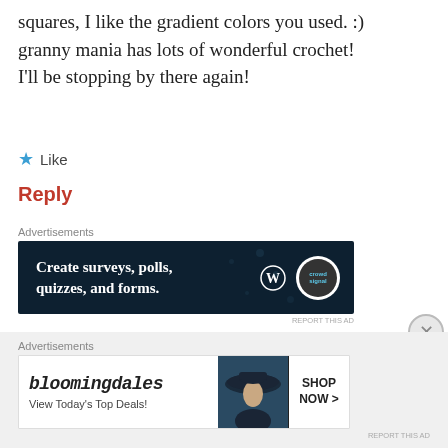squares, I like the gradient colors you used. :) granny mania has lots of wonderful crochet! I'll be stopping by there again!
Like
Reply
[Figure (screenshot): Advertisement banner for WordPress survey/form tool: 'Create surveys, polls, quizzes, and forms.' with WordPress logo and Crowd Signal logo on dark navy background]
REPORT THIS AD
sylvie
july 19, 2012 at 5:48 pm
[Figure (screenshot): Advertisement banner for Bloomingdale's: 'bloomingdales View Today's Top Deals!' with SHOP NOW button and image of woman in hat]
REPORT THIS AD